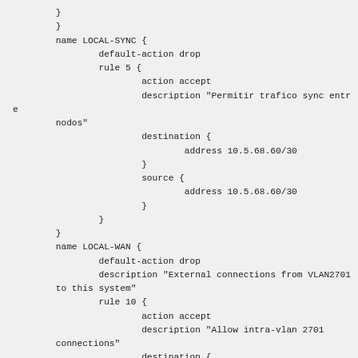}
        }
        name LOCAL-SYNC {
                default-action drop
                rule 5 {
                        action accept
                        description "Permitir trafico sync entre nodos"
                        destination {
                                address 10.5.68.60/30
                        }
                        source {
                                address 10.5.68.60/30
                        }
                }
        }
        name LOCAL-WAN {
                default-action drop
                description "External connections from VLAN2701 to this system"
                rule 10 {
                        action accept
                        description "Allow intra-vlan 2701 connections"
                        destination {
                                address 82.223.45.160/27
                        }
                        source {
                                address 82.223.45.160/27
                        }
                }
        }